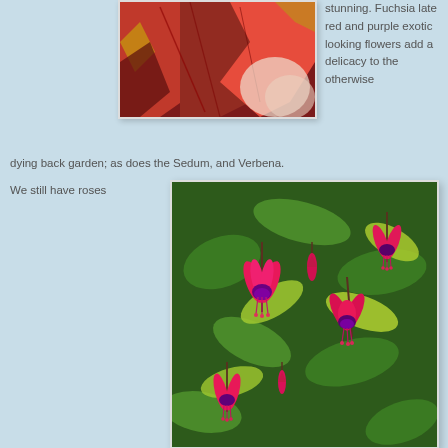[Figure (photo): Close-up photo of red poinsettia or coleus leaves with pink and cream accents]
stunning. Fuchsia late red and purple exotic looking flowers add a delicacy to the otherwise dying back garden; as does the Sedum, and Verbena. We still have roses
[Figure (photo): Photo of fuchsia plant with bright pink and purple hanging flowers against green and yellow foliage]